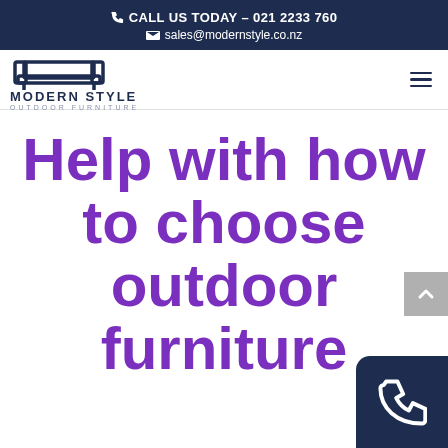CALL US TODAY – 021 2233 760
sales@modernstyle.co.nz
[Figure (logo): Modern Style Outdoor Furniture logo with sofa icon]
Help with how to choose outdoor furniture